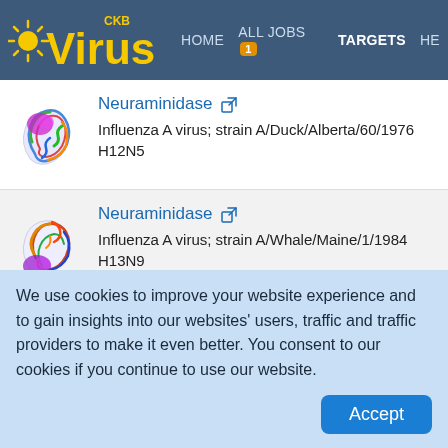VirusCKB HOME ALL JOBS 1 TARGETS HE
[Figure (illustration): 3D protein structure illustration of Neuraminidase, colorful ribbon diagram with magenta and green highlights]
Neuraminidase [external link icon]
Influenza A virus; strain A/Duck/Alberta/60/1976 H12N5
[Figure (illustration): 3D protein structure illustration of Neuraminidase, colorful ribbon diagram with magenta/purple and orange highlights]
Neuraminidase [external link icon]
Influenza A virus; strain A/Whale/Maine/1/1984 H13N9
We use cookies to improve your website experience and to gain insights into our websites' users, traffic and traffic providers to make it even better. You consent to our cookies if you continue to use our website.